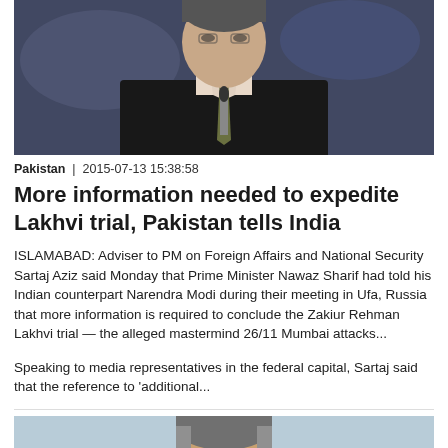[Figure (photo): Photo of a man in a dark suit speaking at a microphone, viewed from the chest up, against a blurred blue background]
Pakistan  |  2015-07-13 15:38:58
More information needed to expedite Lakhvi trial, Pakistan tells India
ISLAMABAD: Adviser to PM on Foreign Affairs and National Security Sartaj Aziz said Monday that Prime Minister Nawaz Sharif had told his Indian counterpart Narendra Modi during their meeting in Ufa, Russia that more information is required to conclude the Zakiur Rehman Lakhvi trial — the alleged mastermind 26/11 Mumbai attacks...
Speaking to media representatives in the federal capital, Sartaj said that the reference to 'additional...
[Figure (photo): Partial photo showing the face/head of another person against a light blue background]